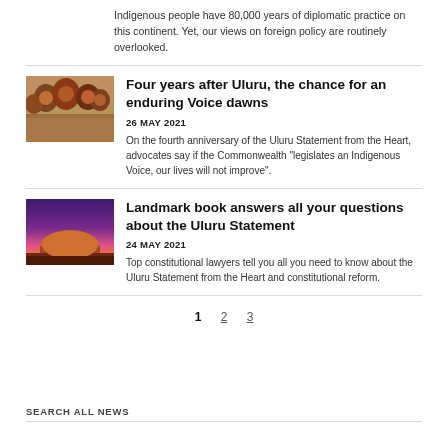Indigenous people have 80,000 years of diplomatic practice on this continent. Yet, our views on foreign policy are routinely overlooked.
[Figure (photo): Group of Indigenous people]
Four years after Uluru, the chance for an enduring Voice dawns
26 MAY 2021
On the fourth anniversary of the Uluru Statement from the Heart, advocates say if the Commonwealth “legislates an Indigenous Voice, our lives will not improve”.
[Figure (photo): Uluru at sunset with purple and pink sky]
Landmark book answers all your questions about the Uluru Statement
24 MAY 2021
Top constitutional lawyers tell you all you need to know about the Uluru Statement from the Heart and constitutional reform.
1  2  3
SEARCH ALL NEWS